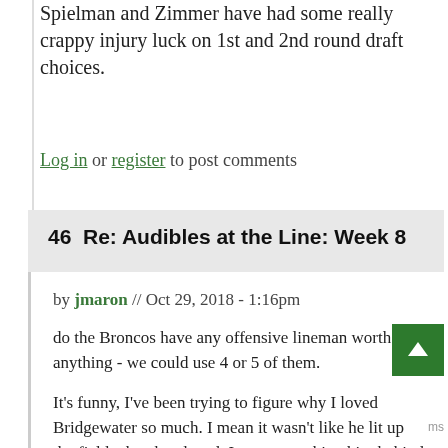Spielman and Zimmer have had some really crappy injury luck on 1st and 2nd round draft choices.
Log in or register to post comments
46  Re: Audibles at the Line: Week 8
by jmaron // Oct 29, 2018 - 1:16pm
do the Broncos have any offensive lineman worth anything - we could use 4 or 5 of them.
It's funny, I've been trying to figure why I loved Bridgewater so much. I mean it wasn't like he lit up the field when he played. I guess watching him behind such a horrendous oline and